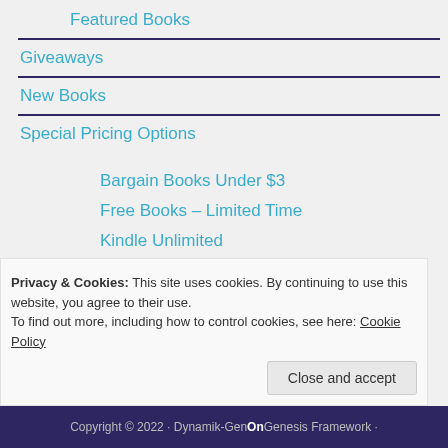Featured Books
Giveaways
New Books
Special Pricing Options
Bargain Books Under $3
Free Books – Limited Time
Kindle Unlimited
PermaFree
Privacy & Cookies: This site uses cookies. By continuing to use this website, you agree to their use.
To find out more, including how to control cookies, see here: Cookie Policy
Copyright © 2022 · Dynamik-Gen On Genesis Framework ·